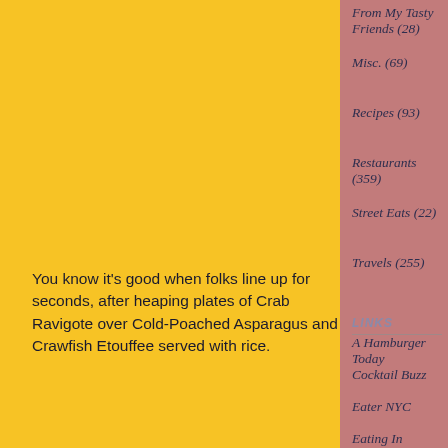From My Tasty Friends (28)
Misc. (69)
Recipes (93)
Restaurants (359)
Street Eats (22)
Travels (255)
LINKS
A Hamburger Today
Cocktail Buzz
Eater NYC
Eating In Translation
Fork in the Road
Gastropada
Gothamist: Food
Grub Street New York
You know it’s good when folks line up for seconds, after heaping plates of Crab Ravigote over Cold-Poached Asparagus and Crawfish Etouffee served with rice.